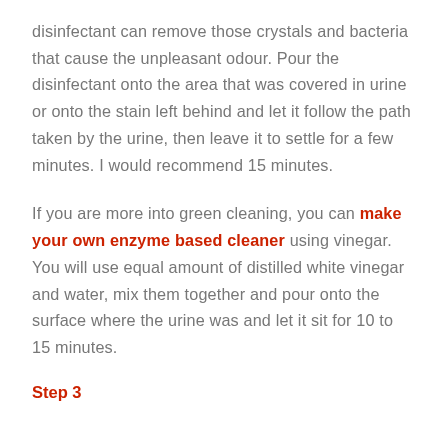disinfectant can remove those crystals and bacteria that cause the unpleasant odour. Pour the disinfectant onto the area that was covered in urine or onto the stain left behind and let it follow the path taken by the urine, then leave it to settle for a few minutes. I would recommend 15 minutes.
If you are more into green cleaning, you can make your own enzyme based cleaner using vinegar. You will use equal amount of distilled white vinegar and water, mix them together and pour onto the surface where the urine was and let it sit for 10 to 15 minutes.
Step 3